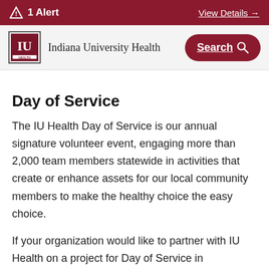1 Alert   View Details →
[Figure (logo): Indiana University Health logo with IU emblem and text 'Indiana University Health' and Search button]
Day of Service
The IU Health Day of Service is our annual signature volunteer event, engaging more than 2,000 team members statewide in activities that create or enhance assets for our local community members to make the healthy choice the easy choice.
If your organization would like to partner with IU Health on a project for Day of Service in September, please reach out to mdexter1@iuhealth.org for more information.